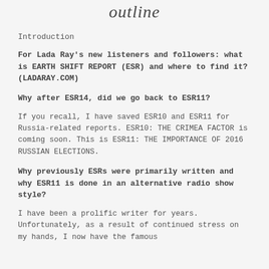outline
Introduction
For Lada Ray's new listeners and followers: what is EARTH SHIFT REPORT (ESR) and where to find it? (LADARAY.COM)
Why after ESR14, did we go back to ESR11?
If you recall, I have saved ESR10 and ESR11 for Russia-related reports. ESR10: THE CRIMEA FACTOR is coming soon. This is ESR11: THE IMPORTANCE OF 2016 RUSSIAN ELECTIONS.
Why previously ESRs were primarily written and why ESR11 is done in an alternative radio show style?
I have been a prolific writer for years. Unfortunately, as a result of continued stress on my hands, I now have the famous condition called...